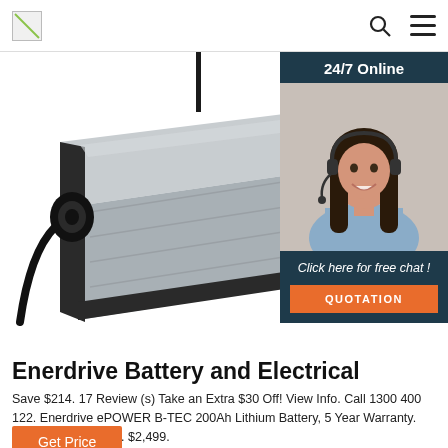24/7 Online
[Figure (photo): Enerdrive ePOWER B-TEC 200Ah Lithium Battery product photo showing a silver rectangular battery unit with black end caps and cable connectors, along with a 24/7 online chat widget featuring a female customer service representative wearing a headset]
Enerdrive Battery and Electrical
Save $214. 17 Review (s) Take an Extra $30 Off! View Info. Call 1300 400 122. Enerdrive ePOWER B-TEC 200Ah Lithium Battery, 5 Year Warranty. SALE Price: $2,499. $2,499.
Get Price